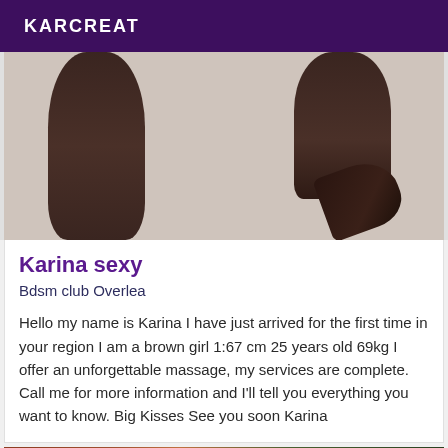KARCREAT
[Figure (photo): Close-up photo of woman's legs in dark stockings and high heels against a light wall background]
Karina sexy
Bdsm club Overlea
Hello my name is Karina I have just arrived for the first time in your region I am a brown girl 1:67 cm 25 years old 69kg I offer an unforgettable massage, my services are complete. Call me for more information and I'll tell you everything you want to know. Big Kisses See you soon Karina
[Figure (photo): Partial view of another listing photo at the bottom of the page, showing warm tones with orange/green colors]